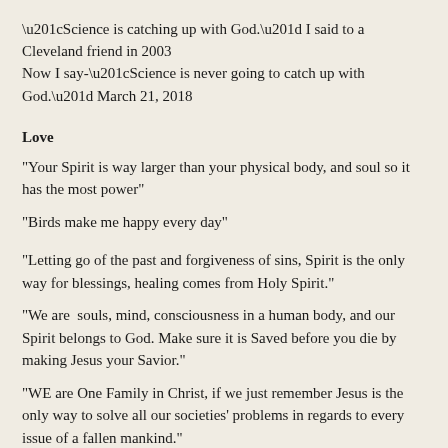“Science is catching up with God.” I said to a Cleveland friend in 2003 Now I say-“Science is never going to catch up with God.” March 21, 2018
Love
“Your Spirit is way larger than your physical body, and soul so it has the most power”
“Birds make me happy every day”
“Letting go of the past and forgiveness of sins, Spirit is the only way for blessings, healing comes from Holy Spirit.”
“We are  souls, mind, consciousness in a human body, and our Spirit belongs to God. Make sure it is Saved before you die by making Jesus your Savior.”
“WE are One Family in Christ, if we just remember Jesus is the only way to solve all our societies’ problems in regards to every issue of a fallen mankind.”